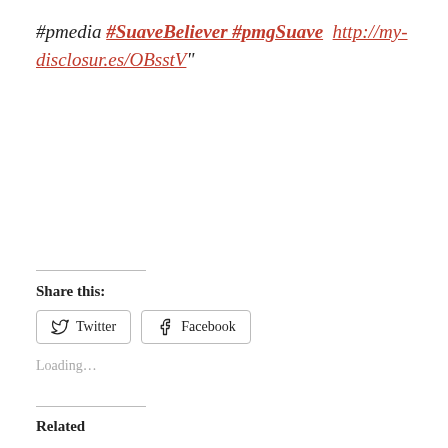#pmedia #SuaveBeliever #pmgSuave  http://my-disclosur.es/OBsstV"
Share this:
Twitter
Facebook
Loading…
Related